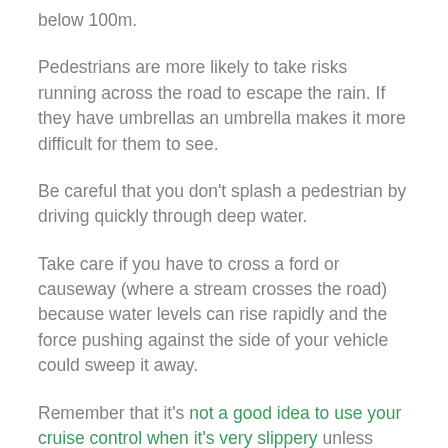below 100m.
Pedestrians are more likely to take risks running across the road to escape the rain. If they have umbrellas an umbrella makes it more difficult for them to see.
Be careful that you don't splash a pedestrian by driving quickly through deep water.
Take care if you have to cross a ford or causeway (where a stream crosses the road) because water levels can rise rapidly and the force pushing against the side of your vehicle could sweep it away.
Remember that it's not a good idea to use your cruise control when it's very slippery unless